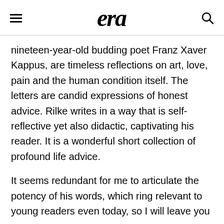[hamburger menu] [era logo] [search icon]
nineteen-year-old budding poet Franz Xaver Kappus, are timeless reflections on art, love, pain and the human condition itself. The letters are candid expressions of honest advice. Rilke writes in a way that is self-reflective yet also didactic, captivating his reader. It is a wonderful short collection of profound life advice.
It seems redundant for me to articulate the potency of his words, which ring relevant to young readers even today, so I will leave you